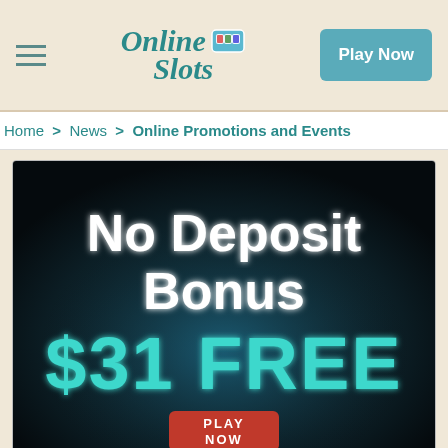Online Slots — Play Now
Home > News > Online Promotions and Events
[Figure (illustration): Promotional banner image with dark background showing 'No Deposit Bonus $31 FREE' in white and teal text, with a red 'PLAY NOW' button at the bottom]